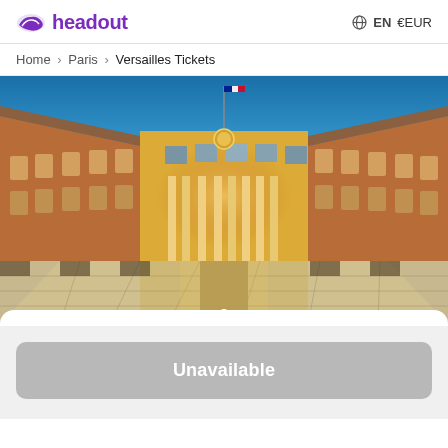headout  EN  €EUR
Home > Paris > Versailles Tickets
[Figure (photo): Wide-angle fisheye photo of the Palace of Versailles courtyard (Cour de Marbre) at dusk, showing the golden baroque central facade illuminated with warm lights, flanked by ornate red-brick wings, with a French flag atop, and a dramatic black-and-white checkered cobblestone courtyard in the foreground reflecting the golden light. Blue sky above. Carousel navigation dots visible at bottom center.]
Unavailable